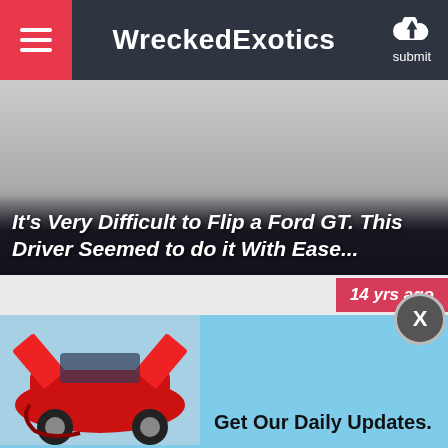WreckedExotics
[Figure (screenshot): Hero image of a wrecked/flipped Ford GT, mostly gray placeholder with dark gradient overlay at bottom]
It's Very Difficult to Flip a Ford GT. This Driver Seemed to do it With Ease...
14 yrs ago
[Figure (photo): Red wrecked exotic sports car (Lamborghini-style) with doors open, front end damaged, displayed on light blue background]
Get Our Daily Updates.
Join the 150,000 fans who subscribe to our awesome email updates